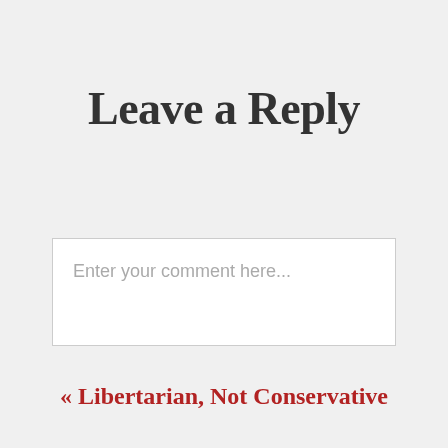Leave a Reply
Enter your comment here...
« Libertarian, Not Conservative